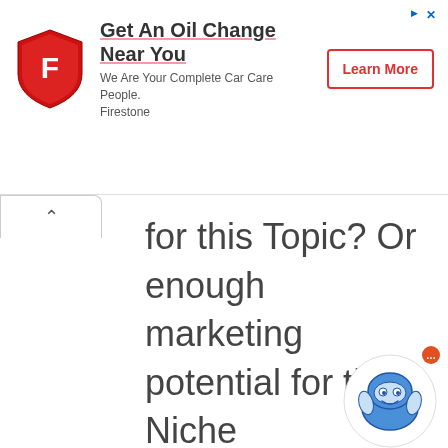[Figure (infographic): Firestone advertisement banner: shield logo with F, headline 'Get An Oil Change Near You', subtext 'We Are Your Complete Car Care People. Firestone', and a 'Learn More' button with red border.]
for this Topic? Or enough marketing potential for that Niche
Life of the Niche  Is it ever green?
Competition and the
[Figure (illustration): Chat bot robot icon with blue helmet, small orange notification dot in top right corner.]